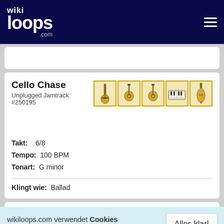wikiloops.com
Cello Chase
Unplugged Jamtrack #250195
[Figure (illustration): Row of 5 instrument icons (electric bass guitar, acoustic guitar, acoustic guitar, keyboard/piano, cello) each in a gold-bordered box]
Takt: 6/8
Tempo: 100 BPM
Tonart: G minor
Klingt wie: Ballad
wikiloops.com verwendet Cookies um Dir die beste Nutzererfahrung zu ermöglichen.
Lies mehr in unseren Datenschutzbestimmungen .